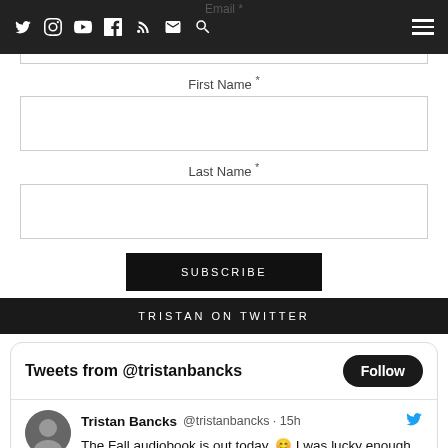Navigation bar with social icons: Twitter, Instagram, YouTube, Facebook, RSS, Email, Search, and hamburger menu
Email *
First Name *
Last Name *
SUBSCRIBE
TRISTAN ON TWITTER
Tweets from @tristanbancks
Follow
Tristan Bancks @tristanbancks · 15h
The Fall audiobook is out today. 😊 I was lucky enough to narrate it. I've had lots of emails asking about this one for kids in schools with learning challenges, so I'm happy to see it on